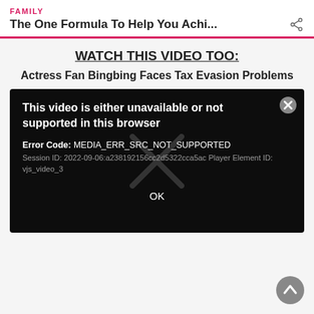FAMILY
The One Formula To Help You Achi...
WATCH THIS VIDEO TOO:
Actress Fan Bingbing Faces Tax Evasion Problems
[Figure (screenshot): Video player error dialog on black background. Error message: 'This video is either unavailable or not supported in this browser'. Error Code: MEDIA_ERR_SRC_NOT_SUPPORTED. Session ID: 2022-09-06:a238192156cc2d5322cca5ac Player Element ID: vjs_video_3. OK button at bottom.]